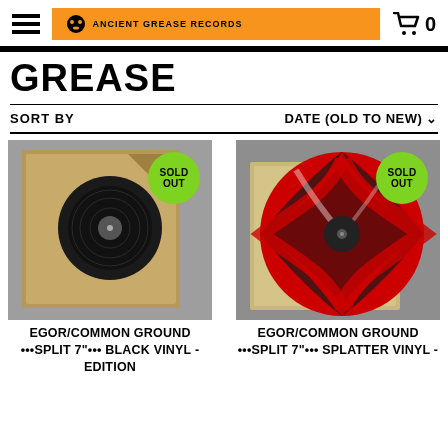Ancient Grease Records
GREASE
SORT BY  DATE (OLD TO NEW)
[Figure (photo): Black vinyl record in brown sleeve with SOLD OUT badge]
[Figure (photo): Red and black splatter vinyl record in sleeve with SOLD OUT badge]
EGOR/COMMON GROUND •••SPLIT 7"••• BLACK VINYL - EDITION
EGOR/COMMON GROUND •••SPLIT 7"••• SPLATTER VINYL -